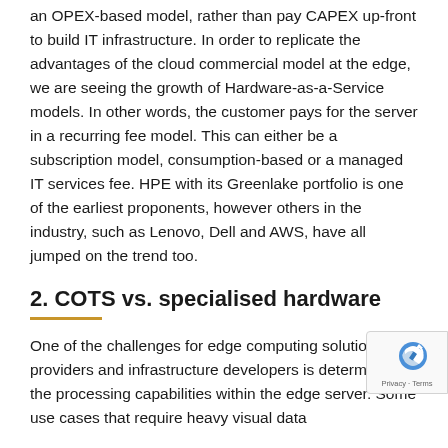an OPEX-based model, rather than pay CAPEX up-front to build IT infrastructure. In order to replicate the advantages of the cloud commercial model at the edge, we are seeing the growth of Hardware-as-a-Service models. In other words, the customer pays for the server in a recurring fee model. This can either be a subscription model, consumption-based or a managed IT services fee. HPE with its Greenlake portfolio is one of the earliest proponents, however others in the industry, such as Lenovo, Dell and AWS, have all jumped on the trend too.
2. COTS vs. specialised hardware
One of the challenges for edge computing solution providers and infrastructure developers is determining the processing capabilities within the edge server. Some use cases that require heavy visual data